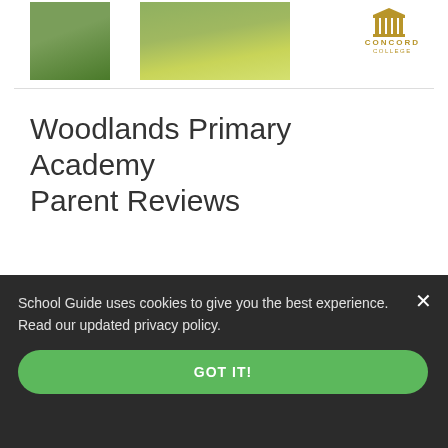[Figure (photo): Two partial images of a school campus with green lawns and garden, plus Concord College logo in gold]
Woodlands Primary Academy Parent Reviews
[Figure (other): Dashed box with an orange padlock icon and % symbol, indicating locked/hidden percentage content]
School Guide uses cookies to give you the best experience. Read our updated privacy policy.
GOT IT!